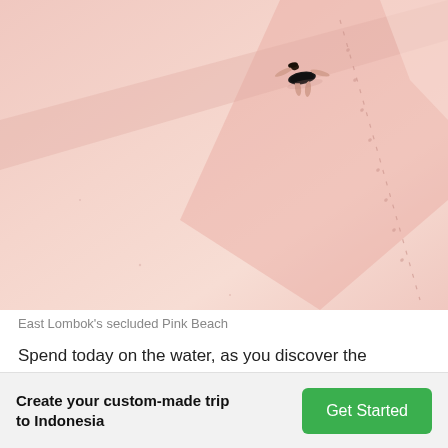[Figure (photo): Aerial view of a person in a black swimsuit lying on pink sandy beach with footprints trailing across the sand. East Lombok's Pink Beach.]
East Lombok's secluded Pink Beach
Spend today on the water, as you discover the untouched treasures of East Lombok by boat. Making your way to the small village of Sekaroh on the Ekas Peninsula, you'll find the famous Pink Beach that remains hidden from most visitors.
Create your custom-made trip to Indonesia
Get Started